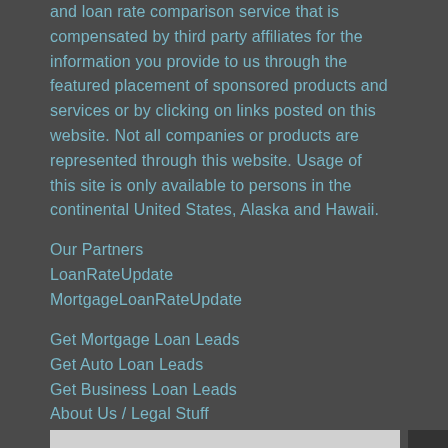and loan rate comparison service that is compensated by third party affiliates for the information you provide to us through the featured placement of sponsored products and services or by clicking on links posted on this website. Not all companies or products are represented through this website. Usage of this site is only available to persons in the continental United States, Alaska and Hawaii.
Our Partners
LoanRateUpdate
MortgageLoanRateUpdate
Get Mortgage Loan Leads
Get Auto Loan Leads
Get Business Loan Leads
About Us / Legal Stuff